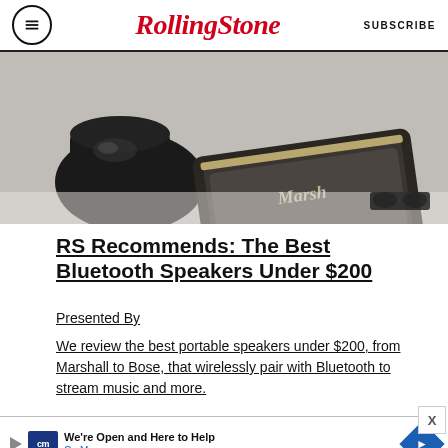Rolling Stone  SUBSCRIBE
[Figure (photo): Marshall Bluetooth speaker on the floor near boots/shoes]
RS Recommends: The Best Bluetooth Speakers Under $200
Presented By
We review the best portable speakers under $200, from Marshall to Bose, that wirelessly pair with Bluetooth to stream music and more.
[Figure (other): CarMax advertisement: We're Open and Here to Help]